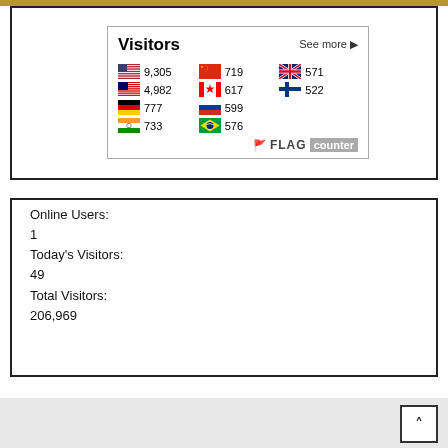[Figure (infographic): Flag Counter widget showing visitor counts by country. Title: Visitors, See more link. Flags for USA (9,305), Malaysia (4,982), Germany (777), India (733), China (719), Canada (617), Russia (599), Brazil (576), UK (571), Finland (522). FLAG counter logo at bottom right.]
Online Users:
1
Today's Visitors:
49
Total Visitors:
206,969
[Figure (other): Back to top button with upward caret arrow, bottom right corner over gray footer bar.]